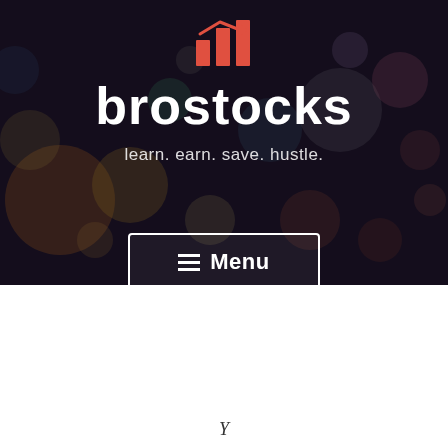[Figure (logo): Brostocks logo: red bar chart icon with downward arrow]
brostocks
learn. earn. save. hustle.
[Figure (other): Menu button with hamburger icon and text 'Menu']
[Figure (photo): Blurred bokeh city nightscape background (dark blue, orange, purple tones)]
Y